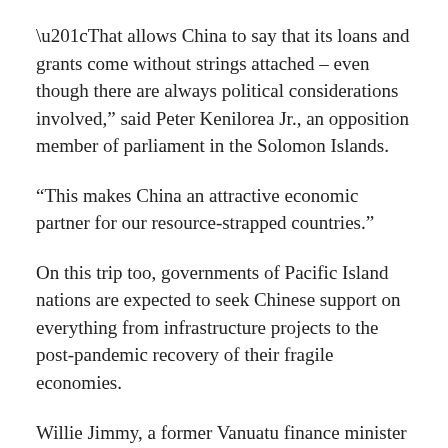“That allows China to say that its loans and grants come without strings attached – even though there are always political considerations involved,” said Peter Kenilorea Jr., an opposition member of parliament in the Solomon Islands.
“This makes China an attractive economic partner for our resource-strapped countries.”
On this trip too, governments of Pacific Island nations are expected to seek Chinese support on everything from infrastructure projects to the post-pandemic recovery of their fragile economies.
Willie Jimmy, a former Vanuatu finance minister and ambassador to China, said he welcomed Wang’s visit, although he had not been previously aware of the trip due